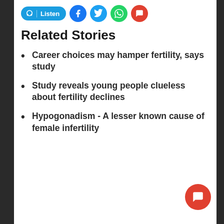[Figure (other): Toolbar with Listen button and social media share icons (Facebook, Twitter, WhatsApp, Comments)]
Related Stories
Career choices may hamper fertility, says study
Study reveals young people clueless about fertility declines
Hypogonadism - A lesser known cause of female infertility
[Figure (other): Orange circular chat/comment button in the bottom right corner]